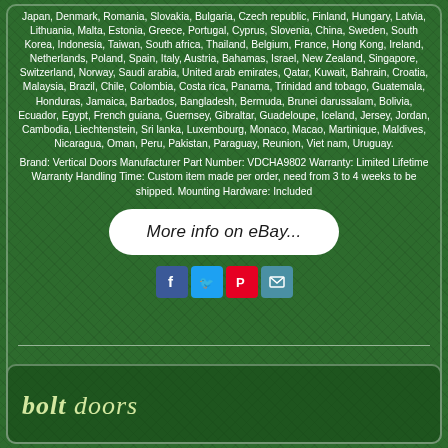Japan, Denmark, Romania, Slovakia, Bulgaria, Czech republic, Finland, Hungary, Latvia, Lithuania, Malta, Estonia, Greece, Portugal, Cyprus, Slovenia, China, Sweden, South Korea, Indonesia, Taiwan, South africa, Thailand, Belgium, France, Hong Kong, Ireland, Netherlands, Poland, Spain, Italy, Austria, Bahamas, Israel, New Zealand, Singapore, Switzerland, Norway, Saudi arabia, United arab emirates, Qatar, Kuwait, Bahrain, Croatia, Malaysia, Brazil, Chile, Colombia, Costa rica, Panama, Trinidad and tobago, Guatemala, Honduras, Jamaica, Barbados, Bangladesh, Bermuda, Brunei darussalam, Bolivia, Ecuador, Egypt, French guiana, Guernsey, Gibraltar, Guadeloupe, Iceland, Jersey, Jordan, Cambodia, Liechtenstein, Sri lanka, Luxembourg, Monaco, Macao, Martinique, Maldives, Nicaragua, Oman, Peru, Pakistan, Paraguay, Reunion, Viet nam, Uruguay.
Brand: Vertical Doors Manufacturer Part Number: VDCHA9802 Warranty: Limited Lifetime Warranty Handling Time: Custom item made per order, need from 3 to 4 weeks to be shipped. Mounting Hardware: Included
[Figure (screenshot): eBay listing button with rounded corners reading 'More info on eBay...']
[Figure (infographic): Social share icons: Facebook (blue), Twitter (light blue), Pinterest (red), Email (teal)]
[Figure (logo): Bolt Doors logo text in italic style at the bottom of the page]